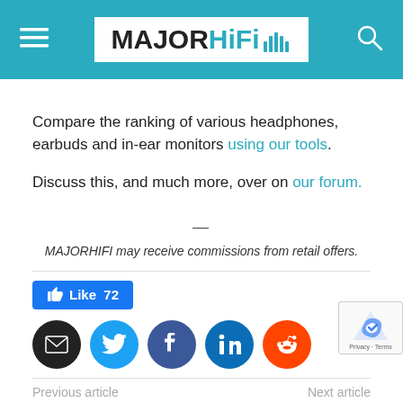MAJORHIFI
Compare the ranking of various headphones, earbuds and in-ear monitors using our tools.
Discuss this, and much more, over on our forum.
—
MAJORHIFI may receive commissions from retail offers.
Like 72
[Figure (infographic): Social share buttons: email, Twitter, Facebook, LinkedIn, Reddit]
Previous article
Next article